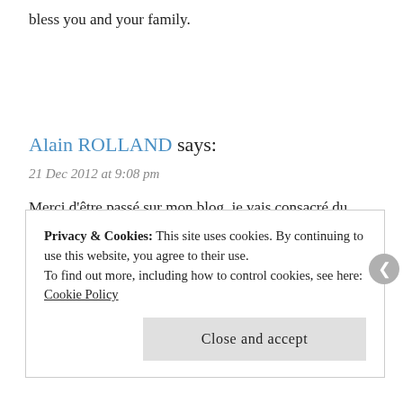bless you and your family.
Alain ROLLAND says:
21 Dec 2012 at 9:08 pm
Merci d'être passé sur mon blog. je vais consacré du temps pour explorer le votre et joyeux Noël dans l'attente de nos prochains échanges
Amitiés
Privacy & Cookies: This site uses cookies. By continuing to use this website, you agree to their use.
To find out more, including how to control cookies, see here: Cookie Policy
Close and accept